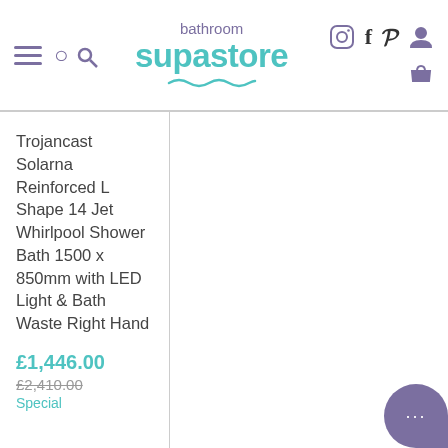bathroom supastore
Trojancast Solarna Reinforced L Shape 14 Jet Whirlpool Shower Bath 1500 x 850mm with LED Light & Bath Waste Right Hand
£1,446.00
£2,410.00
Special